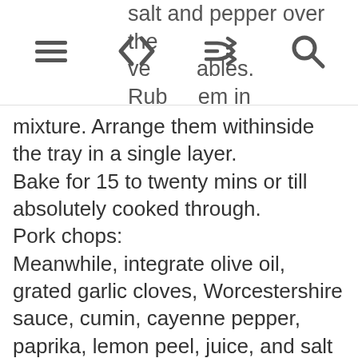salt and pepper over the vegetables. Rub them in hands to coat with the spice and mixture.
mixture. Arrange them withinside the tray in a single layer. Bake for 15 to twenty mins or till absolutely cooked through. Pork chops: Meanwhile, integrate olive oil, grated garlic cloves, Worcestershire sauce, cumin, cayenne pepper, paprika, lemon peel, juice, and salt and pepper in a small bowl. Rub the pink steaks. You can do this collectively together along with your arms in a shallow casserole or placed the fillets and rub them in a freezer bag, last them properly and rubbing till the red steaks are covered choppy.